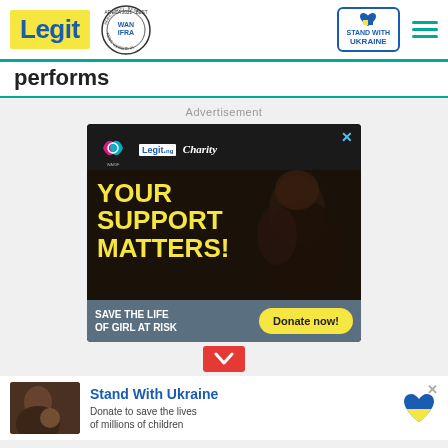Legit | WAN-IFRA Best News Website in Africa 2021 | Stand With Ukraine
performs
Advertisement
[Figure (illustration): WARIF and Legit.ng Charity advertisement banner. Shows a dark photo of a woman in distress. Text reads: YOUR SUPPORT MATTERS! SAVE THE LIFE OF GIRL AT RISK. Donate now button.]
[Figure (illustration): Stand With Ukraine banner with child photo and heart icon. Text: Stand With Ukraine - Donate to save the lives of millions of children]